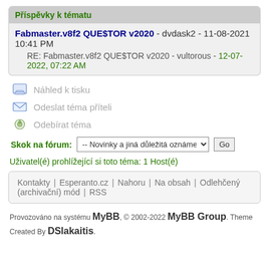Příspěvky k tématu
Fabmaster.v8f2 QUE$TOR v2020 - dvdask2 - 11-08-2021 10:41 PM
RE: Fabmaster.v8f2 QUE$TOR v2020 - vultorous - 12-07-2022, 07:22 AM
Náhled k tisku
Odeslat téma příteli
Odebírat téma
Skok na fórum: -- Novinky a jiná důležitá oznámení  Go
Uživatel(é) prohlížející si toto téma: 1 Host(é)
Kontakty | Esperanto.cz | Nahoru | Na obsah | Odlehčený (archivační) mód | RSS
Provozováno na systému MyBB, © 2002-2022 MyBB Group. Theme Created By DSlakaitis.